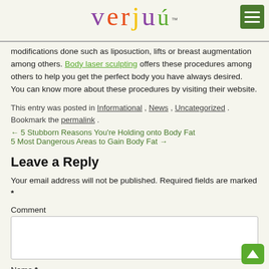verjú™ [logo with hamburger menu]
modifications done such as liposuction, lifts or breast augmentation among others. Body laser sculpting offers these procedures among others to help you get the perfect body you have always desired. You can know more about these procedures by visiting their website.
This entry was posted in Informational , News , Uncategorized . Bookmark the permalink .
← 5 Stubborn Reasons You're Holding onto Body Fat
5 Most Dangerous Areas to Gain Body Fat →
Leave a Reply
Your email address will not be published. Required fields are marked *
Comment
Name *